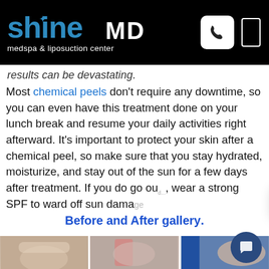[Figure (logo): ShineMD medspa & liposuction center logo on black header with phone icon and menu icon]
results can be devastating.
Most chemical peels don't require any downtime, so you can even have this treatment done on your lunch break and resume your daily activities right afterward. It's important to protect your skin after a chemical peel, so make sure that you stay hydrated, moisturize, and stay out of the sun for a few days after treatment. If you do go out, wear a strong SPF to ward off sun damage.
Welcome to ShineMD Med Spa.
Before and After gallery.
[Figure (photo): Three before and after treatment photos showing body areas]